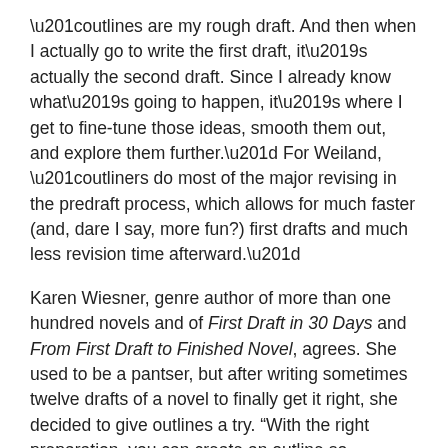“outlines are my rough draft. And then when I actually go to write the first draft, it’s actually the second draft. Since I already know what’s going to happen, it’s where I get to fine-tune those ideas, smooth them out, and explore them further.” For Weiland, “outliners do most of the major revising in the predraft process, which allows for much faster (and, dare I say, more fun?) first drafts and much less revision time afterward.”
Karen Wiesner, genre author of more than one hundred novels and of First Draft in 30 Days and From First Draft to Finished Novel, agrees. She used to be a pantser, but after writing sometimes twelve drafts of a novel to finally get it right, she decided to give outlines a try. “With the right preparation, you can create an outline so complete, it actually qualifies as the first draft of your book and includes every single scene of your book. You can see your entire novel from start to finish in one condensed place. An outline like this … contains every single one of your plot threads,